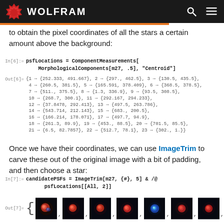WOLFRAM
to obtain the pixel coordinates of all the stars a certain amount above the background:
In[6]:= psfLocations = ComponentMeasurements[
        MorphologicalComponents[m27, .5], "Centroid"]
Out[6]= {1 -> {252.333, 491.667}, 2 -> {297., 462.5}, 3 -> {130.5, 435.5},
 4 -> {260.5, 381.5}, 5 -> {165.591, 378.409}, 6 -> {368.5, 378.5},
 7 -> {511., 375.5}, 8 -> {1.3, 336.9}, 9 -> {93.5, 308.5},
 10 -> {268.7, 300.1}, 11 -> {292.167, 294.233},
 12 -> {37.8478, 292.413}, 13 -> {497.5, 263.786},
 14 -> {543.714, 212.143}, 15 -> {683., 200.5},
 16 -> {166.214, 178.071}, 17 -> {497.7, 94.9},
 18 -> {261.3, 89.9}, 19 -> {453., 88.5}, 20 -> {701.5, 85.5},
 21 -> {6.5, 82.7857}, 22 -> {512.7, 78.1}, 23 -> {302., 1.}}
Once we have their coordinates, we can use ImageTrim to carve these out of the original image with a bit of padding, and then choose a star:
In[7]:= candidatePSFs = ImageTrim[m27, {#}, 5] & /@
        psfLocations[[All, 2]]
[Figure (photo): Out[7]= { followed by 7 small star image thumbnails showing colored star PSFs on dark background }]